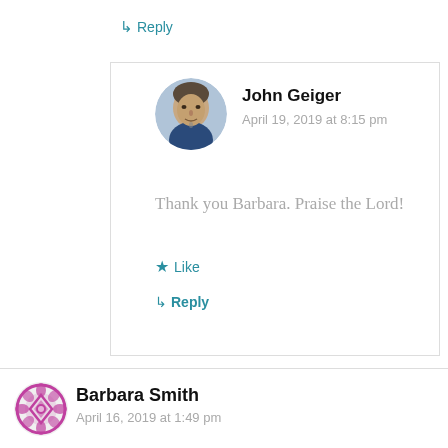↳ Reply
[Figure (illustration): Circular avatar photo of John Geiger, a middle-aged man in a dark jacket]
John Geiger
April 19, 2019 at 8:15 pm
Thank you Barbara. Praise the Lord!
★ Like
↳ Reply
[Figure (illustration): Circular decorative avatar/logo for Barbara Smith, magenta/purple floral geometric pattern]
Barbara Smith
April 16, 2019 at 1:49 pm